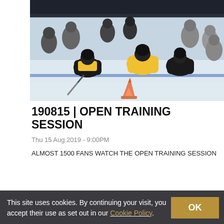[Figure (photo): Hockey players in black and yellow jerseys kneeling on ice during an open training session, with an orange pylon visible in the foreground and many players in the background.]
190815 | OPEN TRAINING SESSION
Thu 15 Aug 2019 - 9:00PM
ALMOST 1500 FANS WATCH THE OPEN TRAINING SESSION
This site uses cookies. By continuing your visit, you accept their use as set out in our Cookie Policy.